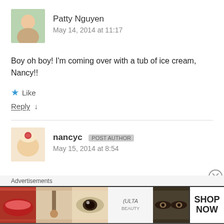[Figure (photo): Avatar photo of Patty Nguyen - a young woman outdoors]
Patty Nguyen
May 14, 2014 at 11:17
Boy oh boy! I'm coming over with a tub of ice cream, Nancy!!
★ Like
Reply ↓
[Figure (photo): Avatar photo of nancyc - a cupcake with strawberry]
nancyc POST AUTHOR
May 15, 2014 at 8:54
Advertisements
[Figure (photo): ULTA beauty advertisement banner showing makeup images - lips, brush, eye, ULTA logo, eyes - with SHOP NOW button]